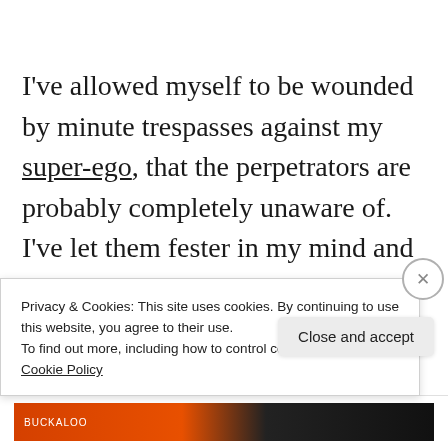I've allowed myself to be wounded by minute trespasses against my super-ego, that the perpetrators are probably completely unaware of. I've let them fester in my mind and grow their own mutations. But I am trying to regrow my world now and
Privacy & Cookies: This site uses cookies. By continuing to use this website, you agree to their use.
To find out more, including how to control cookies, see here: Cookie Policy
Close and accept